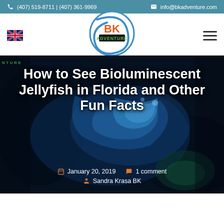(407) 519-8711 | (407) 361-9969   info@bkadventure.com
[Figure (logo): BK Adventure circular logo with blue swoosh and orange/green text]
[Figure (photo): Dark underwater photo with bioluminescent blue jellyfish glow]
How to See Bioluminescent Jellyfish in Florida and Other Fun Facts
January 20, 2019   1 comment   Sandra Krasa BK